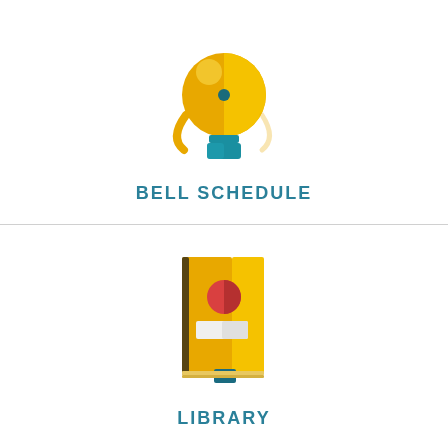[Figure (illustration): Flat-style icon of a school bell with yellow/gold bell, teal base, and a curved arm.]
BELL SCHEDULE
[Figure (illustration): Flat-style icon of a yellow book/library book with red circle sticker and white label, and a teal bookmark at the bottom.]
LIBRARY